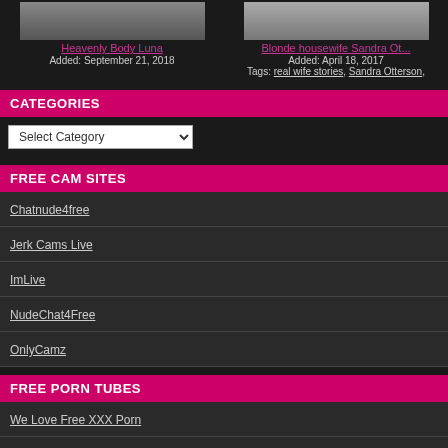[Figure (photo): Thumbnail image for Heavenly Body Luna]
Heavenly Body Luna
Added: September 21, 2018
[Figure (photo): Thumbnail image for Blonde housewife Sandra Ot...]
Blonde housewife Sandra Ot...
Added: April 18, 2017
Tags: real wife stories, Sandra Otterson,
CATEGORIES
Select Category
FREE CAM SITES
Chatnude4free
Jerk Cams Live
ImLive
NudeChat4Free
OnlyCamz
FREE PORN TUBES
We Love Free XXX Porn
Pornhub Premium
Free Sex Peeps